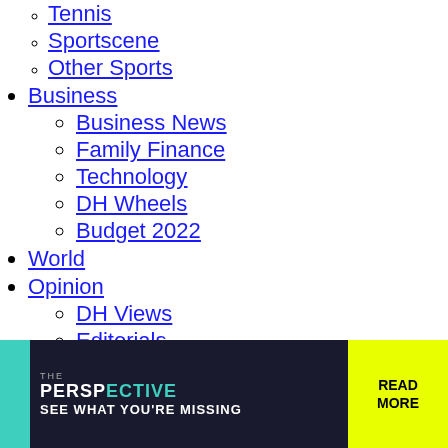Tennis
Sportscene
Other Sports
Business
Business News
Family Finance
Technology
DH Wheels
Budget 2022
World
Opinion
DH Views
Editorials
Panorama
Comment
In Perspective
Right in the Middle
Metrolife
Your Bond With Bengaluru
Cityscape
On The Move
Lifestyle
[Figure (other): Advertisement banner: THE PERSPECTIVE - SEE WHAT YOU'RE MISSING - READ MORE]